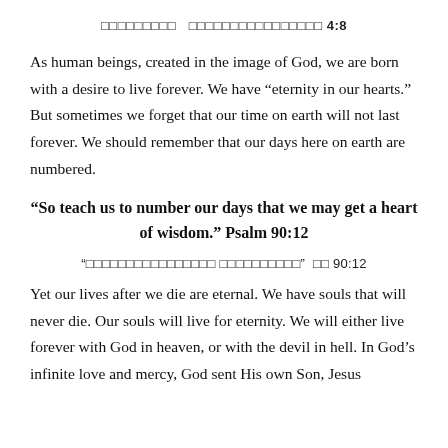□□□□□□□□□   □□□□□□□□□□□□□□□□ 4:8
As human beings, created in the image of God, we are born with a desire to live forever. We have “eternity in our hearts.” But sometimes we forget that our time on earth will not last forever. We should remember that our days here on earth are numbered.
“So teach us to number our days that we may get a heart of wisdom.” Psalm 90:12
“□□□□□□□□□□□□□□□□ □□□□□□□□□□”  □□ 90:12
Yet our lives after we die are eternal. We have souls that will never die. Our souls will live for eternity. We will either live forever with God in heaven, or with the devil in hell. In God’s infinite love and mercy, God sent His own Son, Jesus